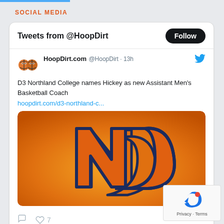SOCIAL MEDIA
Tweets from @HoopDirt
HoopDirt.com @HoopDirt · 13h
D3 Northland College names Hickey as new Assistant Men's Basketball Coach
hoopdirt.com/d3-northland-c...
[Figure (logo): Northland College NC logo on orange gradient background]
7 likes